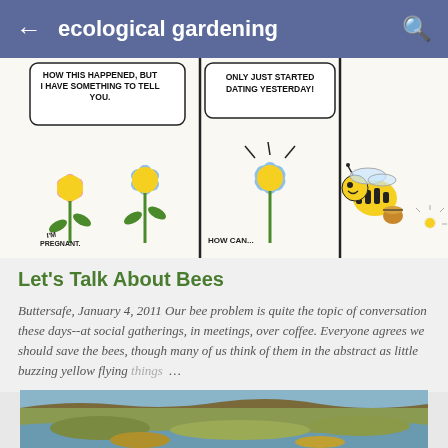ecological gardening
[Figure (illustration): A three-panel comic strip showing cartoon flowers: a pink flower and a blue flower, with speech bubbles saying 'HOW THIS HAPPENED, BUT I HAVE SOMETHING TO TELL YOU.' and 'I'M PREGNANT'. Second panel: blue flower with 'ONLY JUST STARTED DATING YESTERDAY!' and 'HOW CAN...'. Third panel: a cartoon bee holding a basket with a small flower nearby.]
Let's Talk About Bees
Buttersafe, January 4, 2011 Our bee problem is quite the topic of conversation these days--at social gatherings, in meetings, over coffee. Everyone agrees we should save the bees, though many of us think of them in the abstract as little buzzing yellow flying things …
[Figure (photo): Aerial landscape photograph showing a river winding through flat terrain with vegetation and open land.]